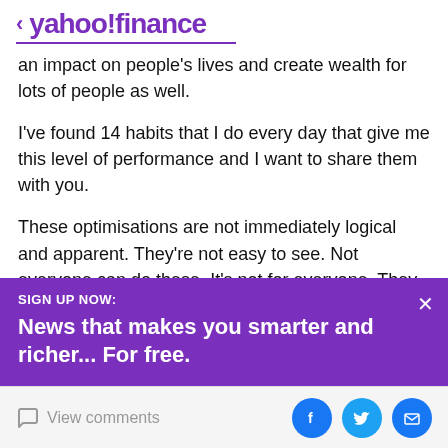< yahoo!finance
an impact on people's lives and create wealth for lots of people as well.
I've found 14 habits that I do every day that give me this level of performance and I want to share them with you.
These optimisations are not immediately logical and apparent. They're not easy to see. Not everyone can do these. It's not for everyone. They are the ones that you need to do in order to optimise for that kind of level of success.
[Figure (infographic): Purple signup banner: SIGN UP NOW: News that makes you smarter and richer... For free.]
View comments | social share icons: Facebook, Twitter, Email